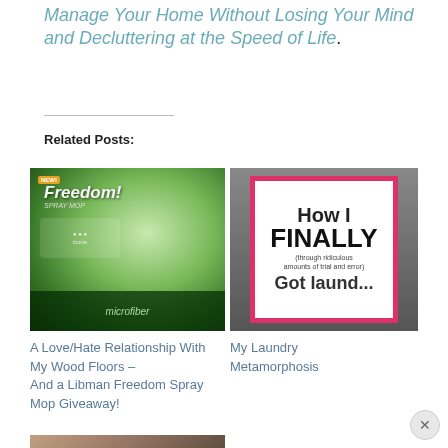Manage Your Home Without Losing Your Mind and Decluttering at the Speed of Life.
Related Posts:
[Figure (photo): Photo of a Libman Freedom Spray Mop product box with green packaging]
A Love/Hate Relationship With My Wood Floors – And a Libman Freedom Spray Mop Giveaway!
[Figure (photo): Sign reading 'How I FINALLY (through ridiculous amounts of trial and error)' with pink border]
My Laundry Metamorphosis
[Figure (photo): Photo of bedroom with overlay text '90 Minute Master Bedroom' partially visible]